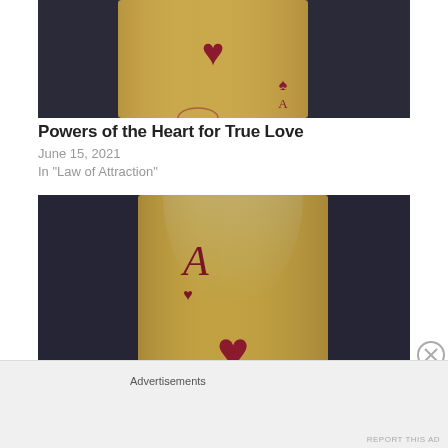[Figure (photo): Close-up of an Ace of Hearts playing card with gold/yellow tint, partially visible, dark background]
Powers of the Heart for True Love
June 15, 2021
In "Law of Attraction"
[Figure (photo): Ace of Hearts playing card with gold/yellow tint illuminated by a beam of light, dark background]
Advertisements
REPORT THIS AD